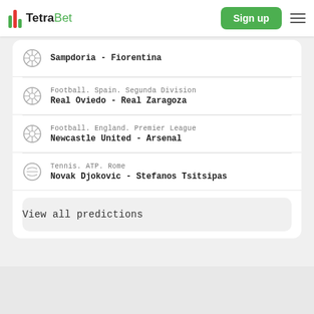TetraBet — Sign up
Sampdoria - Fiorentina
Football. Spain. Segunda Division
Real Oviedo - Real Zaragoza
Football. England. Premier League
Newcastle United - Arsenal
Tennis. ATP. Rome
Novak Djokovic - Stefanos Tsitsipas
View all predictions